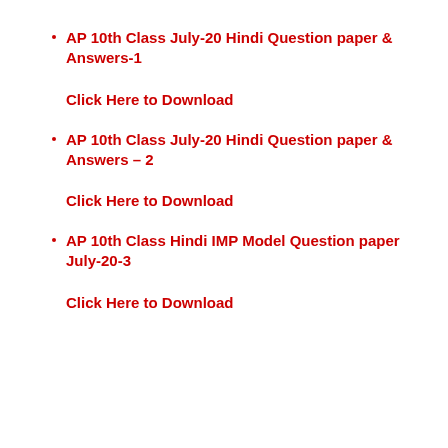AP 10th Class July-20 Hindi Question paper & Answers-1
Click Here to Download
AP 10th Class July-20 Hindi Question paper & Answers – 2
Click Here to Download
AP 10th Class Hindi IMP Model Question paper July-20-3
Click Here to Download